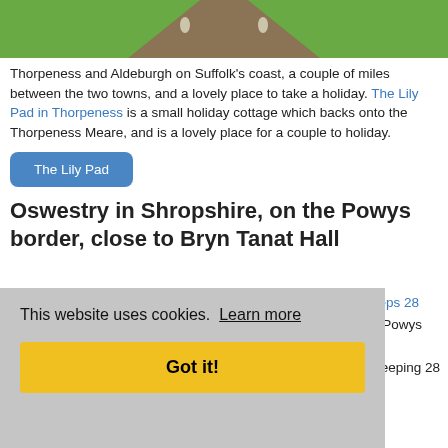[Figure (photo): Aerial view of a wooden boardwalk path through green lawn/grass area]
Thorpeness and Aldeburgh on Suffolk's coast, a couple of miles between the two towns, and a lovely place to take a holiday. The Lily Pad in Thorpeness is a small holiday cottage which backs onto the Thorpeness Meare, and is a lovely place for a couple to holiday.
[Figure (other): Blue button labeled 'The Lily Pad']
Oswestry in Shropshire, on the Powys border, close to Bryn Tanat Hall
sleeps 28
e/Powys
n
sleeping 28
[Figure (other): Cookie consent overlay with 'This website uses cookies. Learn more' text and 'Got it!' yellow button]
[Figure (other): Blue button labeled 'Bryn Tanat Hall']